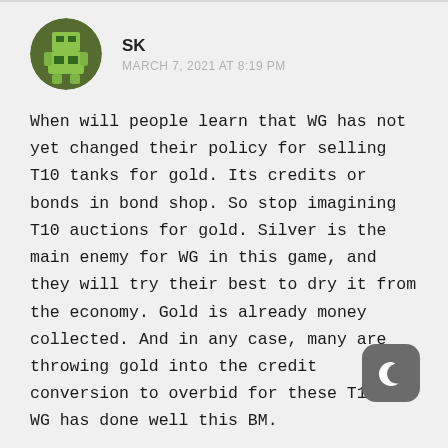SK
MARCH 7, 2021 AT 8:19 PM
When will people learn that WG has not yet changed their policy for selling T10 tanks for gold. Its credits or bonds in bond shop. So stop imagining T10 auctions for gold. Silver is the main enemy for WG in this game, and they will try their best to dry it from the economy. Gold is already money collected. And in any case, many are throwing gold into the credit conversion to overbid for these T10s. WG has done well this BM.
Loading...